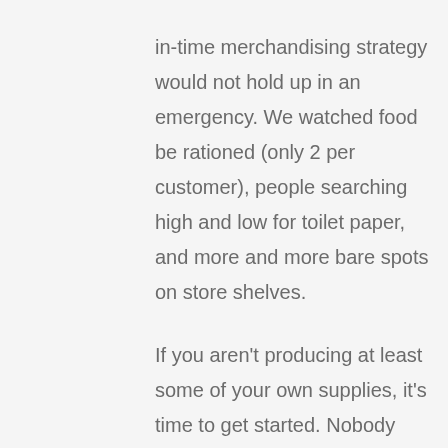in-time merchandising strategy would not hold up in an emergency. We watched food be rationed (only 2 per customer), people searching high and low for toilet paper, and more and more bare spots on store shelves.
If you aren't producing at least some of your own supplies, it's time to get started. Nobody expects you to completely live off the land, but imagine you are in a situation where your entire family is allotted a certain